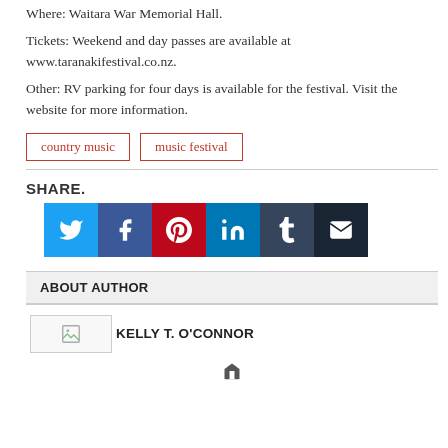Where: Waitara War Memorial Hall.
Tickets: Weekend and day passes are available at www.taranakifestival.co.nz.
Other: RV parking for four days is available for the festival. Visit the website for more information.
country music
music festival
SHARE.
[Figure (infographic): Social share icons: Twitter (blue), Facebook (dark blue), Pinterest (red), LinkedIn (light blue), Tumblr (dark navy), Email (dark)]
ABOUT AUTHOR
[Figure (photo): Author photo placeholder with small image icon]
KELLY T. O'CONNOR
[Figure (infographic): Home icon link]